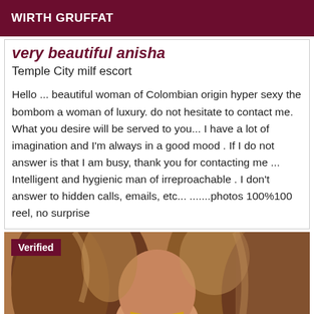WIRTH GRUFFAT
very beautiful anisha
Temple City milf escort
Hello ... beautiful woman of Colombian origin hyper sexy the bombom a woman of luxury. do not hesitate to contact me. What you desire will be served to you... I have a lot of imagination and I'm always in a good mood . If I do not answer is that I am busy, thank you for contacting me ... Intelligent and hygienic man of irreproachable . I don't answer to hidden calls, emails, etc... .......photos 100%100 reel, no surprise
[Figure (photo): Photo of a woman with auburn/blonde hair, wearing blue clothing and a gold chain necklace, with a 'Verified' badge overlay in the top left corner]